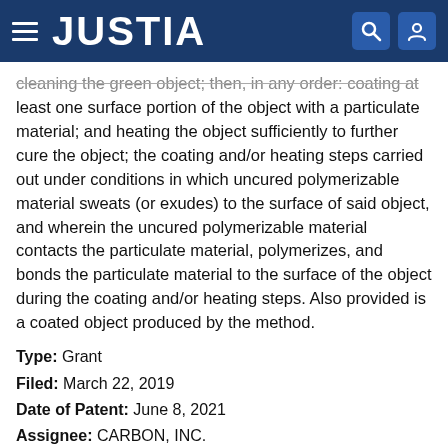JUSTIA
cleaning the green object; then, in any order: coating at least one surface portion of the object with a particulate material; and heating the object sufficiently to further cure the object; the coating and/or heating steps carried out under conditions in which uncured polymerizable material sweats (or exudes) to the surface of said object, and wherein the uncured polymerizable material contacts the particulate material, polymerizes, and bonds the particulate material to the surface of the object during the coating and/or heating steps. Also provided is a coated object produced by the method.
Type: Grant
Filed: March 22, 2019
Date of Patent: June 8, 2021
Assignee: CARBON, INC.
Inventors: R. Griffin Price, Raymond C. Pederkoff, Matthew S. Menyo